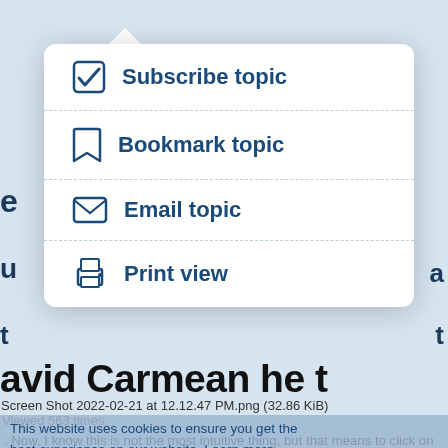[Figure (screenshot): Dropdown menu from a forum/website showing four options: Subscribe topic (with checkmark icon), Bookmark topic (with bookmark icon), Email topic (with envelope icon), Print view (with printer icon). Menu appears over a light blue webpage background.]
avid Carmean he t
Screen Shot 2022-02-21 at 12.12.47 PM.png (32.86 KiB)
Viewed 563 times
This website uses cookies to ensure you get the best experience on our website. Learn more.
. Now, I know this is not the most intuitive thing, but that means to click on the link to subscribe! I know it's not the nicest design in the world, but click that link and then it should change to a link that says "Unsubscribe topic" without the checkbox checked